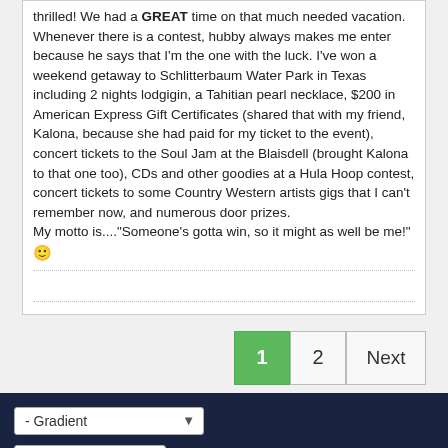thrilled! We had a GREAT time on that much needed vacation. Whenever there is a contest, hubby always makes me enter because he says that I'm the one with the luck. I've won a weekend getaway to Schlitterbaum Water Park in Texas including 2 nights lodgigin, a Tahitian pearl necklace, $200 in American Express Gift Certificates (shared that with my friend, Kalona, because she had paid for my ticket to the event), concert tickets to the Soul Jam at the Blaisdell (brought Kalona to that one too), CDs and other goodies at a Hula Hoop contest, concert tickets to some Country Western artists gigs that I can't remember now, and numerous door prizes. My motto is...."Someone's gotta win, so it might as well be me!" 😀
[Figure (other): Pagination controls: page 1 (active, green), page 2, and Next button]
- Gradient dropdown, Go to... dropdown
? 2004-2021 Hawaii Hui LLC